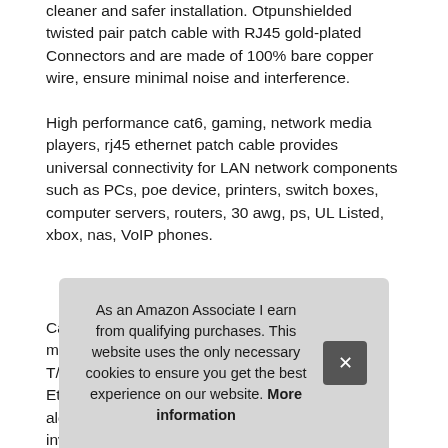cleaner and safer installation. Otpunshielded twisted pair patch cable with RJ45 gold-plated Connectors and are made of 100% bare copper wire, ensure minimal noise and interference.
High performance cat6, gaming, network media players, rj45 ethernet patch cable provides universal connectivity for LAN network components such as PCs, poe device, printers, switch boxes, computer servers, routers, 30 awg, ps, UL Listed, xbox, nas, VoIP phones.
More information #ad
Cat 6 standard provides performance of up to 250 mhz and is suit... T/1... Ethe... alon... invisible by sliding it under a carpet.
As an Amazon Associate I earn from qualifying purchases. This website uses the only necessary cookies to ensure you get the best experience on our website. More information